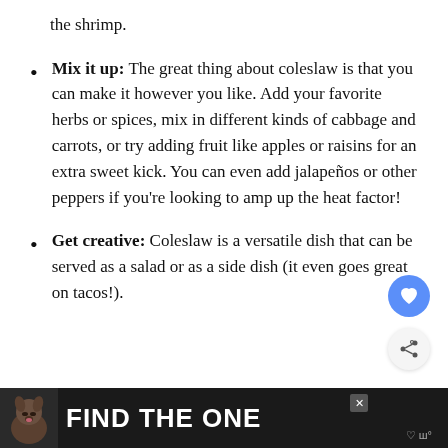the shrimp.
Mix it up: The great thing about coleslaw is that you can make it however you like. Add your favorite herbs or spices, mix in different kinds of cabbage and carrots, or try adding fruit like apples or raisins for an extra sweet kick. You can even add jalapeños or other peppers if you're looking to amp up the heat factor!
Get creative: Coleslaw is a versatile dish that can be served as a salad or as a side dish (it even goes great on tacos!).
[Figure (other): Advertisement banner: dog image with text 'FIND THE ONE' on dark background with small heart icon and close button]